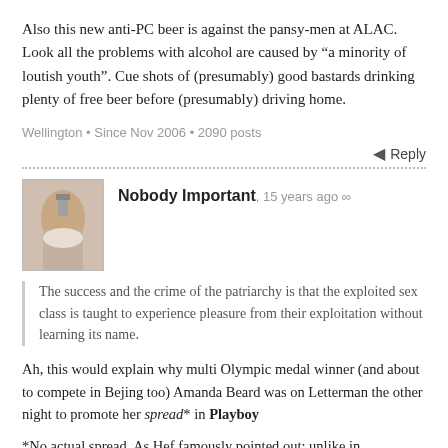Also this new anti-PC beer is against the pansy-men at ALAC. Look all the problems with alcohol are caused by “a minority of loutish youth”. Cue shots of (presumably) good bastards drinking plenty of free beer before (presumably) driving home.
Wellington • Since Nov 2006 • 2090 posts
Reply
Nobody Important, 15 years ago ∞
The success and the crime of the patriarchy is that the exploited sex class is taught to experience pleasure from their exploitation without learning its name.
Ah, this would explain why multi Olympic medal winner (and about to compete in Bejing too) Amanda Beard was on Letterman the other night to promote her spread* in Playboy
*No actual spread. As Hef famously pointed out: unlike in Penthouse, Playboy girls keep their legs